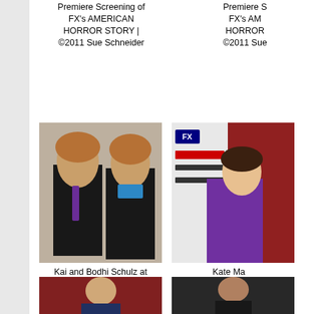Premiere Screening of FX's AMERICAN HORROR STORY | ©2011 Sue Schneider
Premiere Screening of FX's AMERICAN HORROR STORY | ©2011 Sue Schneider
[Figure (photo): Kai and Bodhi Schulz at the Premiere Screening of FX's American Horror Story - two boys with blond hair, one in dark jacket with tie, one in blue shirt]
Kai and Bodhi Schulz at the Premiere Screening of FX's AMERICAN HORROR STORY | ©2011 Sue Schneider
[Figure (photo): Kate Mara at the Premiere Screening of FX's American Horror Story - woman in purple outfit on red carpet]
Kate Ma... Premiere Screening of FX's AMERICAN HORROR STORY | ©2011 Sue Schneider
[Figure (photo): Person at premiere event - partially visible]
[Figure (photo): Person at premiere event - partially visible, dark background]